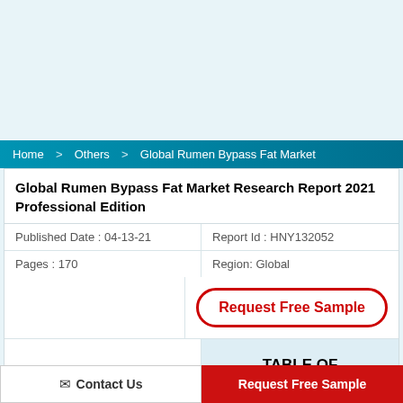Home > Others > Global Rumen Bypass Fat Market
Global Rumen Bypass Fat Market Research Report 2021 Professional Edition
| Published Date : 04-13-21 | Report Id : HNY132052 |
| Pages : 170 | Region: Global |
[Figure (other): Request Free Sample button with red oval border]
SUMMARY
TABLE OF CONTENT
Contact Us
Request Free Sample